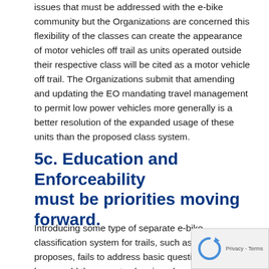issues that must be addressed with the e-bike community but the Organizations are concerned this flexibility of the classes can create the appearance of motor vehicles off trail as units operated outside their respective class will be cited as a motor vehicle off trail. The Organizations submit that amending and updating the EO mandating travel management to permit low power vehicles more generally is a better resolution of the expanded usage of these units than the proposed class system.
5c. Education and Enforceability must be priorities moving forward.
Introducing some type of separate e-bike classification system for trails, such as the Tahoe NF proposes, fails to address basic questions such as how would these routes be signed on the ground and who pays for this signage? We are not even aware of an e-bike sign that has been adopted by the USFS. While signage might appear to be a minor issue it is not for the motorized community, who provides